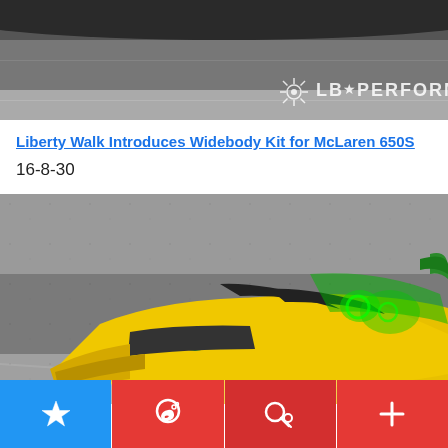[Figure (photo): Top cropped car photo with LB Performance logo/watermark in the lower right]
Liberty Walk Introduces Widebody Kit for McLaren 650S
16-8-30
[Figure (photo): Yellow McLaren 650S with black racing stripes and green interior details on an asphalt track, viewed from front-top angle]
Social sharing bar with star/bookmark, Weibo share, search, and plus/add buttons